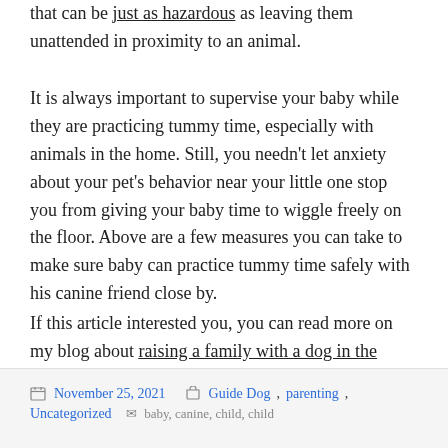that can be just as hazardous as leaving them unattended in proximity to an animal.
It is always important to supervise your baby while they are practicing tummy time, especially with animals in the home. Still, you needn't let anxiety about your pet's behavior near your little one stop you from giving your baby time to wiggle freely on the floor. Above are a few measures you can take to make sure baby can practice tummy time safely with his canine friend close by.
If this article interested you, you can read more on my blog about raising a family with a dog in the home, or read more of my writing on dogs in general.
November 25, 2021   Categories: Guide Dog, parenting, Uncategorized   Tags: baby, canine, child, child...